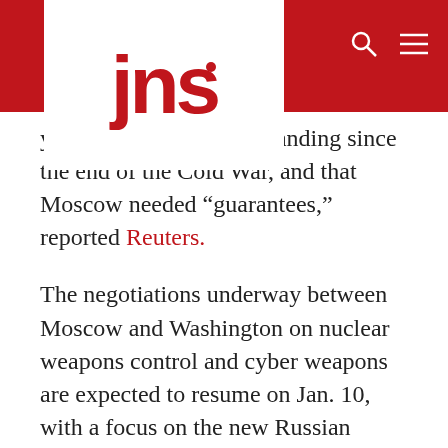jns
y tricked” Russia by expanding since the end of the Cold War, and that Moscow needed “guarantees,” reported Reuters.
The negotiations underway between Moscow and Washington on nuclear weapons control and cyber weapons are expected to resume on Jan. 10, with a focus on the new Russian demands regarding NATO expansion and offensive weapons deployment.
If Russia invades Ukraine, the United States and Western countries are threatening